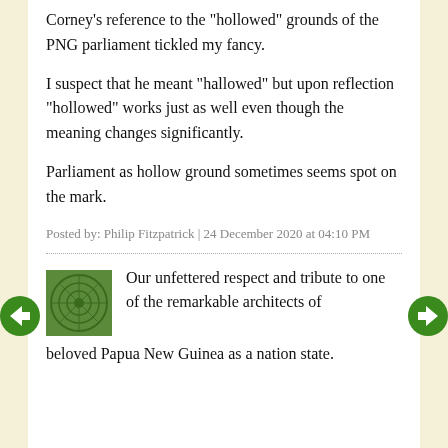Corney's reference to the "hollowed" grounds of the PNG parliament tickled my fancy.
I suspect that he meant "hallowed" but upon reflection "hollowed" works just as well even though the meaning changes significantly.
Parliament as hollow ground sometimes seems spot on the mark.
Posted by: Philip Fitzpatrick | 24 December 2020 at 04:10 PM
Our unfettered respect and tribute to one of the remarkable architects of beloved Papua New Guinea as a nation state.